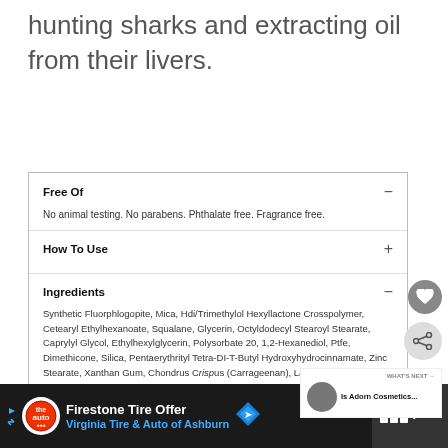hunting sharks and extracting oil from their livers.
Free Of
No animal testing. No parabens. Phthalate free. Fragrance free.
How To Use
Ingredients
Synthetic Fluorphlogopite, Mica, Hdi/Trimethylol Hexyllactone Crosspolymer, Cetearyl Ethylhexanoate, Squalane, Glycerin, Octyldodecyl Stearoyl Stearate, Caprylyl Glycol, Ethylhexylglycerin, Polysorbate 20, 1,2-Hexanediol, Ptfe, Dimethicone, Silica, Pentaerythrityl Tetra-DI-T-Butyl Hydroxyhydrocinnamate, Zinc Stearate, Xanthan Gum, Chondrus Crispus (Carrageenan), Lauroyl Lysine, Dicalcium Phosphate, Titanium Dioxide (CI 77891), Iron Oxides (CI 77491, CI 77492, CI 77499)
Firestone Tire Offer Virginia Tire & Auto of Ashburn